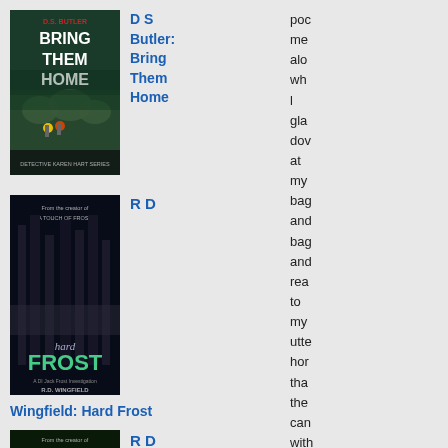[Figure (illustration): Book cover: D.S. Butler - Bring Them Home, Detective Karen Hart Series. Dark atmospheric cover with two small figures in a misty field.]
D S Butler: Bring Them Home
poc me alo wh l gla dov at my bag and bag and rea to my utte hor tha the can with all
[Figure (illustration): Book cover: R.D. Wingfield - Hard Frost. Dark moody forest scene with tall trees.]
R D
Wingfield: Hard Frost
[Figure (illustration): Book cover: R.D. Wingfield - another book. Dark forest path with green tones.]
R D